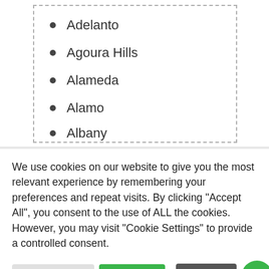Adelanto
Agoura Hills
Alameda
Alamo
Albany
We use cookies on our website to give you the most relevant experience by remembering your preferences and repeat visits. By clicking “Accept All”, you consent to the use of ALL the cookies. However, you may visit “Cookie Settings” to provide a controlled consent.